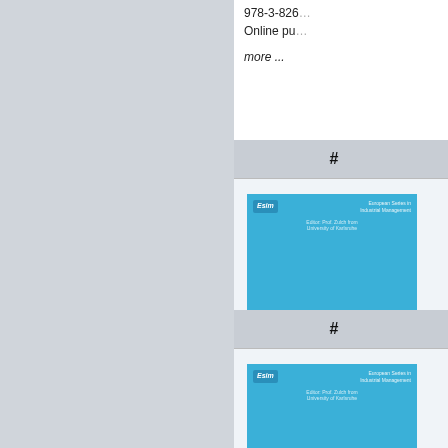978-3-826...
Online pu...
more ...
| # | Title |
| --- | --- |
| 4. | Gert Zülc...
Design a...
Proceedi...
Productio...
Volume: 1
Series: E
978-3-826...
Online pu...
more ... |
| 5. | Henri Mu...
Cases in ...
Supporte...
Volume: 9
Series: E
978-3-826...
Online pu...
more ... |
| # | Title |
| --- | --- |